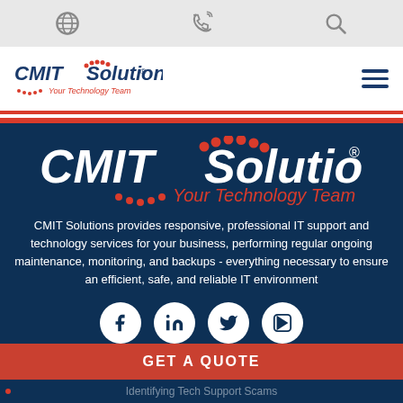Navigation bar with globe icon, phone icon, search icon
[Figure (logo): CMIT Solutions logo with 'Your Technology Team' tagline and hamburger menu]
[Figure (logo): CMIT Solutions large white logo on dark navy background with 'Your Technology Team' tagline in red italic]
CMIT Solutions provides responsive, professional IT support and technology services for your business, performing regular ongoing maintenance, monitoring, and backups - everything necessary to ensure an efficient, safe, and reliable IT environment
[Figure (infographic): Social media icons row: Facebook, LinkedIn, Twitter, YouTube]
GET A QUOTE
Identifying Tech Support Scams